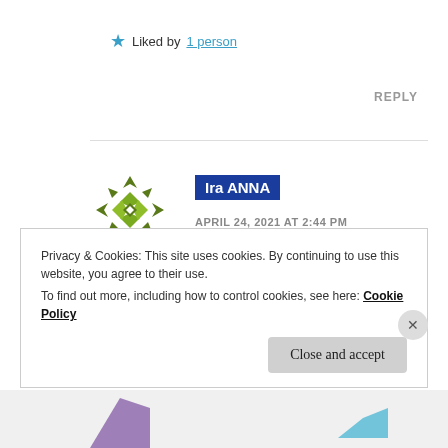Liked by 1 person
REPLY
[Figure (illustration): Green geometric/diamond pattern avatar icon for user Ira ANNA]
Ira ANNA
APRIL 24, 2021 AT 2:44 PM
Yes.
Privacy & Cookies: This site uses cookies. By continuing to use this website, you agree to their use.
To find out more, including how to control cookies, see here: Cookie Policy